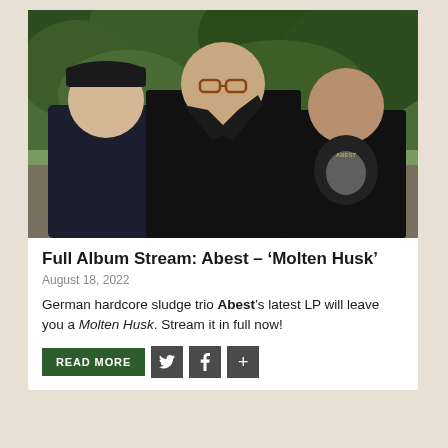[Figure (photo): Three men standing outdoors on a path with green trees/forest in background. Left: man in dark navy hoodie and black cap. Center: taller man in black leather jacket with pins, glasses, brown hair. Right: man in black graphic t-shirt with yellow/white design. All facing camera with serious expressions.]
Full Album Stream: Abest – 'Molten Husk'
August 18, 2022
German hardcore sludge trio Abest's latest LP will leave you a Molten Husk. Stream it in full now!